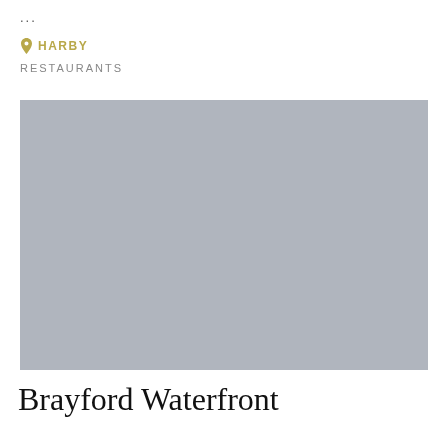...
📍 HARBY
RESTAURANTS
[Figure (photo): A large grey placeholder image representing a restaurant photo]
Brayford Waterfront